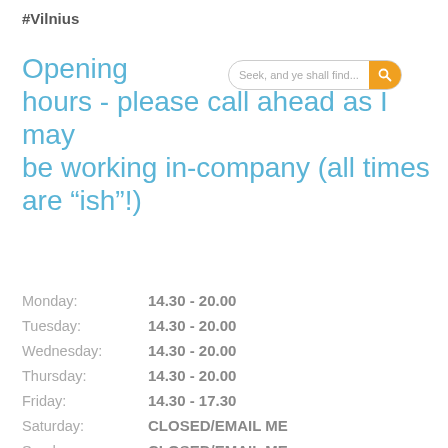#Vilnius
Opening hours - please call ahead as I may be working in-company (all times are “ish”!)
| Day | Hours |
| --- | --- |
| Monday: | 14.30 - 20.00 |
| Tuesday: | 14.30 - 20.00 |
| Wednesday: | 14.30 - 20.00 |
| Thursday: | 14.30 - 20.00 |
| Friday: | 14.30 - 17.30 |
| Saturday: | CLOSED/EMAIL ME |
| Sunday: | CLOSED/EMAIL ME |